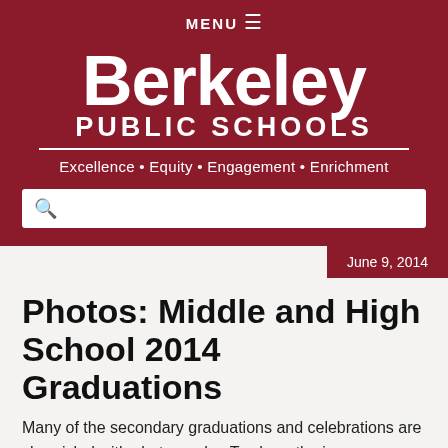MENU ≡
[Figure (logo): Berkeley Public Schools logo with tagline: Excellence • Equity • Engagement • Enrichment on dark red background]
June 9, 2014
Photos: Middle and High School 2014 Graduations
Many of the secondary graduations and celebrations are chronicled with photographs. To share the images captured with our community, the photos of the middle school graduatio...